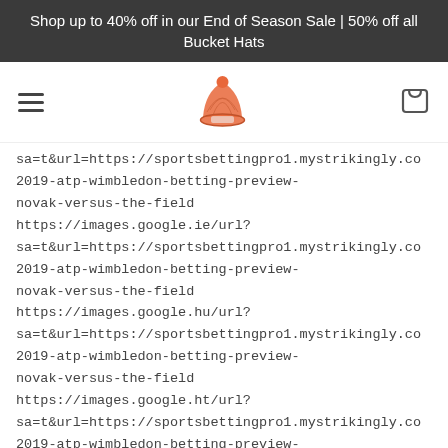Shop up to 40% off in our End of Season Sale | 50% off all Bucket Hats
[Figure (logo): Navigation bar with hamburger menu icon, orange knit hat logo in center, and shopping cart icon on the right]
sa=t&url=https://sportsbettingpro1.mystrikingly.com/2019-atp-wimbledon-betting-preview-novak-versus-the-field https://images.google.ie/url?sa=t&url=https://sportsbettingpro1.mystrikingly.com/2019-atp-wimbledon-betting-preview-novak-versus-the-field https://images.google.hu/url?sa=t&url=https://sportsbettingpro1.mystrikingly.com/2019-atp-wimbledon-betting-preview-novak-versus-the-field https://images.google.ht/url?sa=t&url=https://sportsbettingpro1.mystrikingly.com/2019-atp-wimbledon-betting-preview-